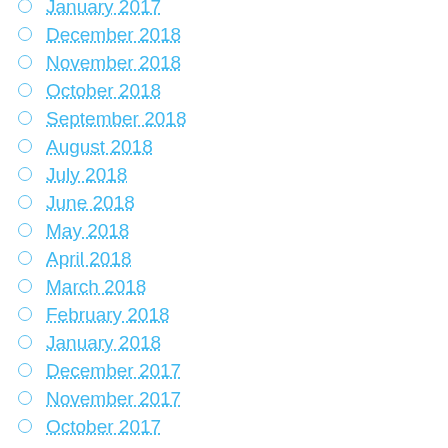January 2017
December 2018
November 2018
October 2018
September 2018
August 2018
July 2018
June 2018
May 2018
April 2018
March 2018
February 2018
January 2018
December 2017
November 2017
October 2017